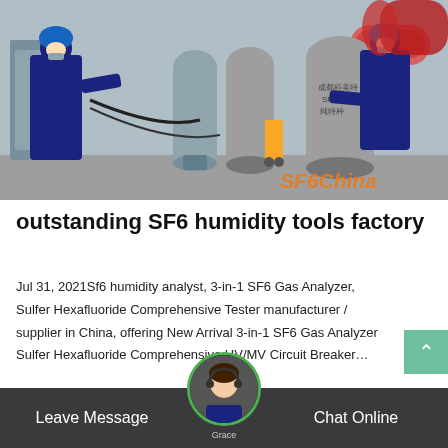[Figure (photo): Two workers in blue coveralls and hard hats handling large gray SF6 gas cylinders at an industrial site. Chinese text on cylinders. SF6China watermark in orange at bottom right.]
outstanding SF6 humidity tools factory
Jul 31, 2021Sf6 humidity analyst, 3-in-1 SF6 Gas Analyzer, Sulfer Hexafluoride Comprehensive Tester manufacturer / supplier in China, offering New Arrival 3-in-1 SF6 Gas Analyzer Sulfer Hexafluoride Comprehensive HV/MV Circuit Breaker…
Leave Message  Grace  Chat Online